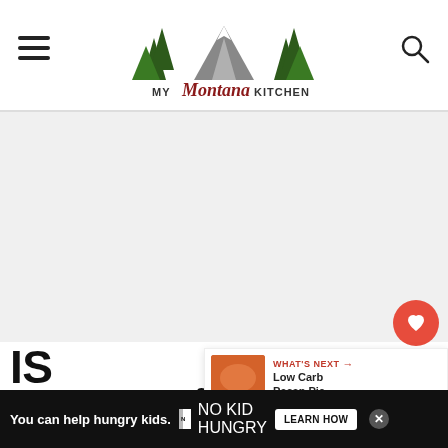My Montana Kitchen
[Figure (logo): My Montana Kitchen logo with pine trees and mountain]
[Figure (infographic): Gray advertisement placeholder area]
IS JALAPEÑO POPPER DIP SPI
[Figure (infographic): What's Next panel: Low Carb Pecan Pie...]
You can tell me directly the best feature of the... and u
[Figure (infographic): No Kid Hungry bottom advertisement banner: You can help hungry kids. LEARN HOW]